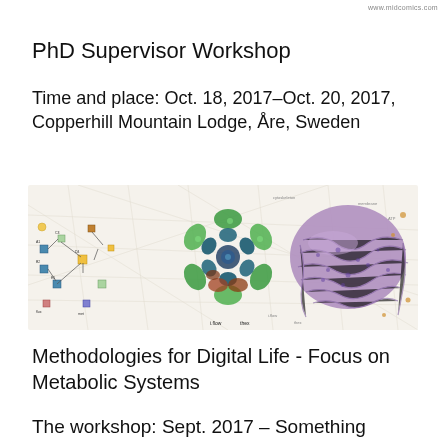www.midcomics.com
PhD Supervisor Workshop
Time and place: Oct. 18, 2017–Oct. 20, 2017, Copperhill Mountain Lodge, Åre, Sweden
[Figure (illustration): Composite image showing a biological/metabolic network diagram on the left with arrows and nodes, a 3D protein/molecular structure visualization in the center (green and blue circular arrangement), and a microscopy image of a purple/violet tissue sample on the right, all on a white background with faint network map overlay.]
Methodologies for Digital Life - Focus on Metabolic Systems
The workshop: Sept. 2017 – Something more